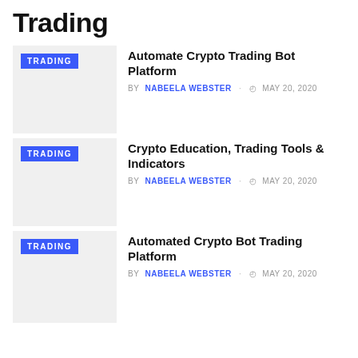Trading
[Figure (other): Article thumbnail placeholder with TRADING badge — Automate Crypto Trading Bot Platform]
Automate Crypto Trading Bot Platform
BY NABEELA WEBSTER  MAY 20, 2020
[Figure (other): Article thumbnail placeholder with TRADING badge — Crypto Education, Trading Tools & Indicators]
Crypto Education, Trading Tools & Indicators
BY NABEELA WEBSTER  MAY 20, 2020
[Figure (other): Article thumbnail placeholder with TRADING badge — Automated Crypto Bot Trading Platform]
Automated Crypto Bot Trading Platform
BY NABEELA WEBSTER  MAY 20, 2020